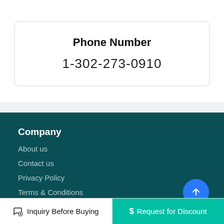Phone Number
1-302-273-0910
Company
About us
Contact us
Privacy Policy
Terms & Conditions
Inquiry Before Buying   $ Request for Discount